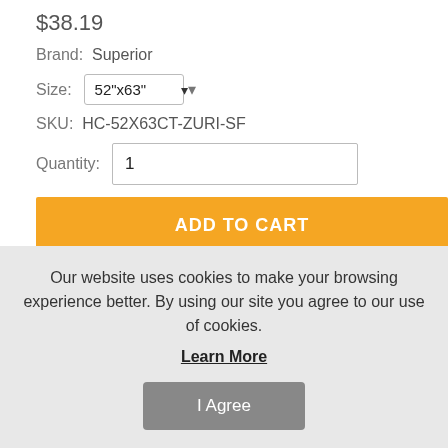$38.19
Brand: Superior
Size: 52"x63"
SKU: HC-52X63CT-ZURI-SF
Quantity: 1
ADD TO CART
Bring a relaxed, modern look to your favorite with the Blackout Room Darkening Metallic Wave Grommet Curtain Panels. Crafted from quality, 100-
Our website uses cookies to make your browsing experience better. By using our site you agree to our use of cookies.
Learn More
I Agree